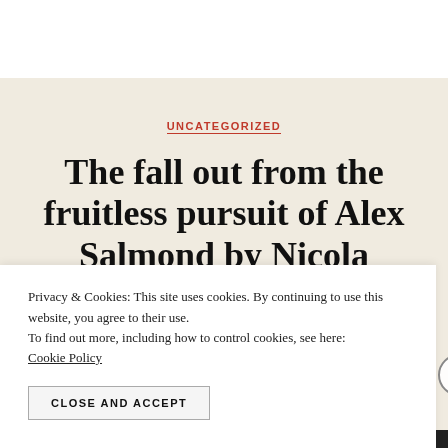UNCATEGORIZED
The fall out from the fruitless pursuit of Alex Salmond by Nicola Sturgeon is not yet at an
Privacy & Cookies: This site uses cookies. By continuing to use this website, you agree to their use.
To find out more, including how to control cookies, see here:
Cookie Policy
CLOSE AND ACCEPT